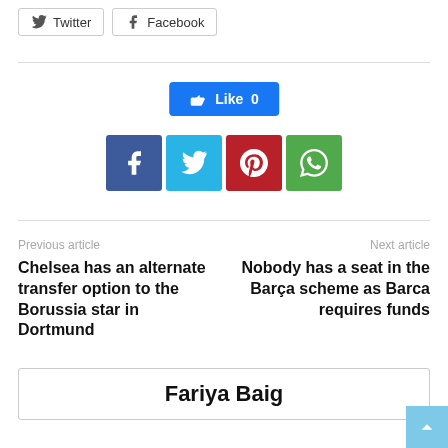[Figure (other): Twitter and Facebook share buttons at top of page]
[Figure (other): Facebook Like button showing Like 0]
[Figure (other): Four social sharing icon squares: Facebook (blue), Twitter (cyan), Pinterest (red), WhatsApp (green)]
Previous article
Next article
Chelsea has an alternate transfer option to the Borussia star in Dortmund
Nobody has a seat in the Barça scheme as Barca requires funds
Fariya Baig